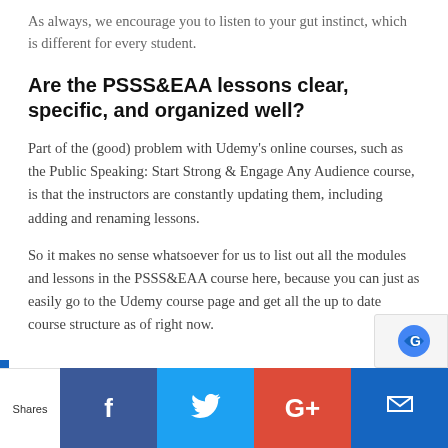As always, we encourage you to listen to your gut instinct, which is different for every student.
Are the PSSS&EAA lessons clear, specific, and organized well?
Part of the (good) problem with Udemy's online courses, such as the Public Speaking: Start Strong & Engage Any Audience course, is that the instructors are constantly updating them, including adding and renaming lessons.
So it makes no sense whatsoever for us to list out all the modules and lessons in the PSSS&EAA course here, because you can just as easily go to the Udemy course page and get all the up to date course structure as of right now.
Shares  [Facebook] [Twitter] [Google+] [Other]